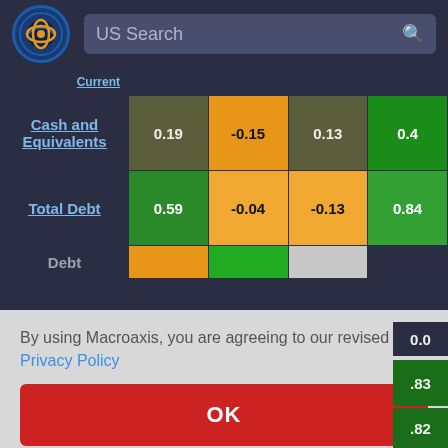[Figure (screenshot): Macroaxis website navigation bar with logo and US Search input field]
|  | Col1 | Col2 | Col3 | Col4 |
| --- | --- | --- | --- | --- |
| Current |  |  |  |  |
| Cash and Equivalents | 0.19 | -0.15 | 0.13 | 0.4 |
| Total Debt | 0.59 | -0.04 | -0.13 | 0.84 |
| Debt |  |  |  |  |
By using Macroaxis, you are agreeing to our revised Privacy Policy
OK
0.0
0.83
0.82
Shareholders